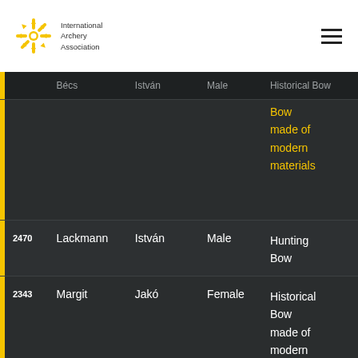[Figure (logo): International Archery Association logo with yellow snowflake icon and text]
| ID | First Name | Last Name | Gender | Bow Type |
| --- | --- | --- | --- | --- |
|  | Bécs | István | Male | Historical Bow made of modern materials |
| 2470 | Lackmann | István | Male | Hunting Bow |
| 2343 | Margit | Jakó | Female | Historical Bow made of modern materials |
| 2567 | Laszlo | Jenei | Male | Historical Bow made of |